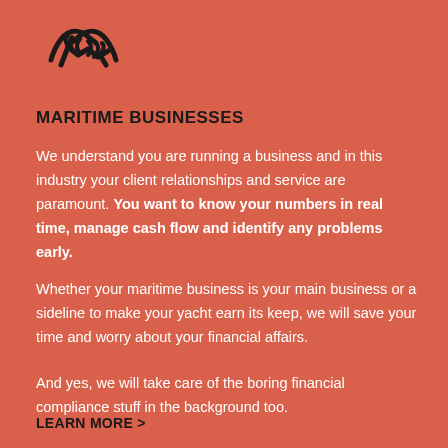[Figure (illustration): Handshake icon in dark outline style on coral/salmon background]
MARITIME BUSINESSES
We understand you are running a business and in this industry your client relationships and service are paramount. You want to know your numbers in real time, manage cash flow and identify any problems early.
Whether your maritime business is your main business or a sideline to make your yacht earn its keep, we will save your time and worry about your financial affairs.
And yes, we will take care of the boring financial compliance stuff in the background too.
LEARN MORE >